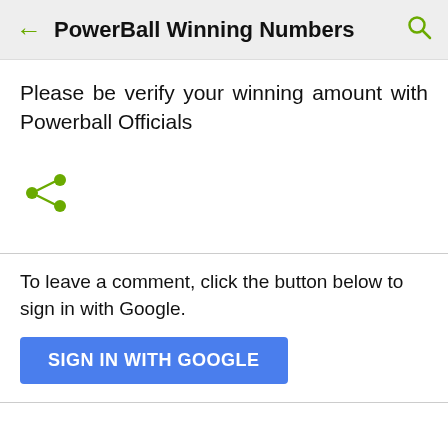PowerBall Winning Numbers
Please be verify your winning amount with Powerball Officials
[Figure (other): Share icon (green network share symbol)]
To leave a comment, click the button below to sign in with Google.
SIGN IN WITH GOOGLE